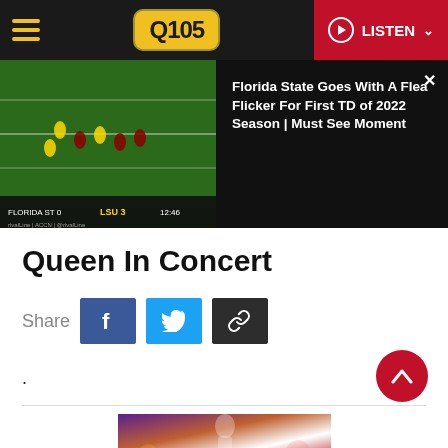Q105 — LISTEN
[Figure (screenshot): Football game video thumbnail showing players on field with scoreboard overlay; beside it text reads 'Florida State Goes With A Flea Flicker For First TD of 2022 Season | Must See Moment']
Queen In Concert
Share
.
[Figure (photo): Concert photo showing a performer on stage with colorful stage lighting]